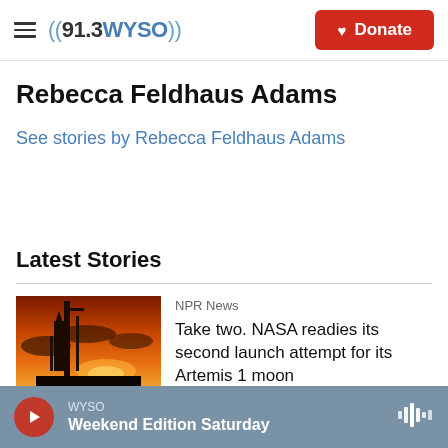((91.3WYSO)) Donate
Rebecca Feldhaus Adams
See stories by Rebecca Feldhaus Adams
Latest Stories
[Figure (photo): A rocket on a launch pad silhouetted against a fiery orange and red sunset sky]
NPR News
Take two. NASA readies its second launch attempt for its Artemis 1 moon
WYSO — Weekend Edition Saturday (player bar)